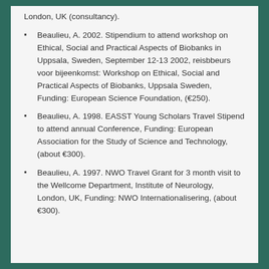London, UK (consultancy).
Beaulieu, A. 2002. Stipendium to attend workshop on Ethical, Social and Practical Aspects of Biobanks in Uppsala, Sweden, September 12-13 2002, reisbbeurs voor bijeenkomst: Workshop on Ethical, Social and Practical Aspects of Biobanks, Uppsala Sweden, Funding: European Science Foundation, (€250).
Beaulieu, A. 1998. EASST Young Scholars Travel Stipend to attend annual Conference, Funding: European Association for the Study of Science and Technology, (about €300).
Beaulieu, A. 1997. NWO Travel Grant for 3 month visit to the Wellcome Department, Institute of Neurology, London, UK, Funding: NWO Internationalisering, (about €300).